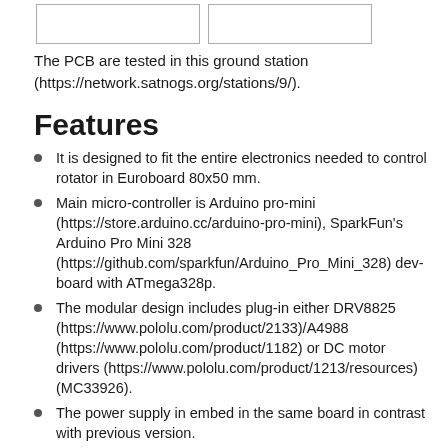[Figure (photo): Two placeholder image boxes side by side at the top of the page]
The PCB are tested in this ground station (https://network.satnogs.org/stations/9/).
Features
It is designed to fit the entire electronics needed to control rotator in Euroboard 80x50 mm.
Main micro-controller is Arduino pro-mini (https://store.arduino.cc/arduino-pro-mini), SparkFun's Arduino Pro Mini 328 (https://github.com/sparkfun/Arduino_Pro_Mini_328) dev-board with ATmega328p.
The modular design includes plug-in either DRV8825 (https://www.pololu.com/product/2133)/A4988 (https://www.pololu.com/product/1182) or DC motor drivers (https://www.pololu.com/product/1213/resources) (MC33926).
The power supply in embed in the same board in contrast with previous version.
Filter in power supply of micro controller.
It has an I2C multiplexer to connect I2C encoders AS5601 (same ID) to get position feedback for each axis.
A temperature sensor TC-74 monitoring the temperature inside.